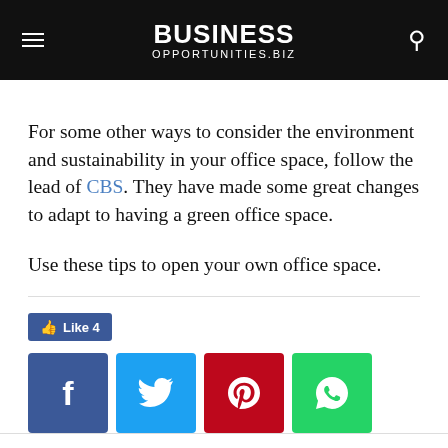BUSINESS OPPORTUNITIES.BIZ
For some other ways to consider the environment and sustainability in your office space, follow the lead of CBS. They have made some great changes to adapt to having a green office space.
Use these tips to open your own office space.
[Figure (infographic): Facebook Like button showing count of 4, and four social media share buttons: Facebook (blue), Twitter (light blue), Pinterest (red), WhatsApp (green)]